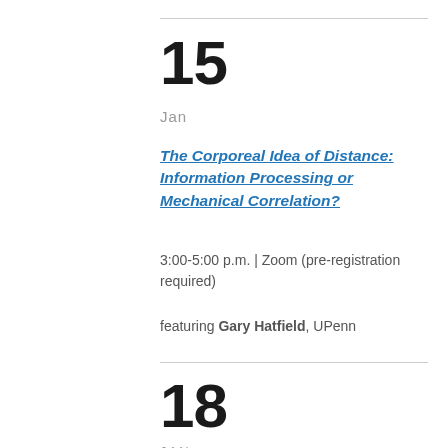15
Jan
The Corporeal Idea of Distance: Information Processing or Mechanical Correlation?
3:00-5:00 p.m.  |  Zoom (pre-registration required)
featuring Gary Hatfield, UPenn
18
JAN